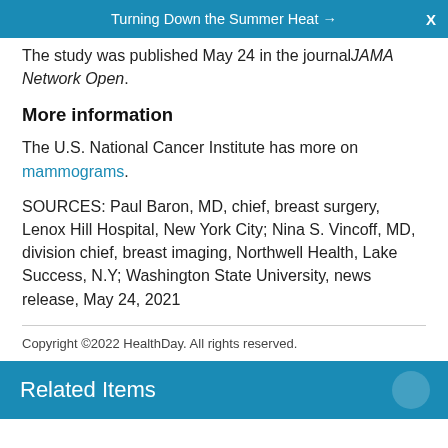Turning Down the Summer Heat →  X
The study was published May 24 in the journal JAMA Network Open.
More information
The U.S. National Cancer Institute has more on mammograms.
SOURCES: Paul Baron, MD, chief, breast surgery, Lenox Hill Hospital, New York City; Nina S. Vincoff, MD, division chief, breast imaging, Northwell Health, Lake Success, N.Y; Washington State University, news release, May 24, 2021
Copyright ©2022 HealthDay. All rights reserved.
Related Items